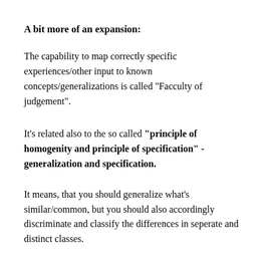A bit more of an expansion:
The capability to map correctly specific experiences/other input to known concepts/generalizations is called "Facculty of judgement".
It's related also to the so called "principle of homogenity and principle of specification" - generalization and specification.
It means, that you should generalize what's similar/common, but you should also accordingly discriminate and classify the differences in seperate and distinct classes.